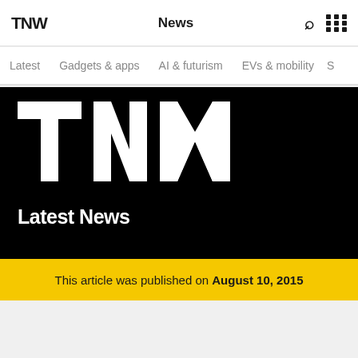TNW | News
Latest | Gadgets & apps | AI & futurism | EVs & mobility | S
[Figure (logo): TNW large white logo on black background with 'Latest News' subtitle]
This article was published on August 10, 2015